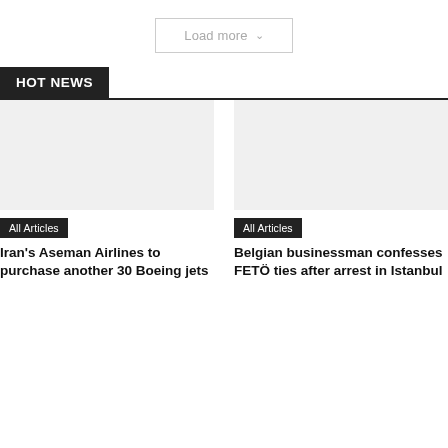Load more
HOT NEWS
[Figure (photo): Placeholder image for Iran's Aseman Airlines article]
All Articles
Iran's Aseman Airlines to purchase another 30 Boeing jets
[Figure (photo): Placeholder image for Belgian businessman article]
All Articles
Belgian businessman confesses FETÖ ties after arrest in Istanbul